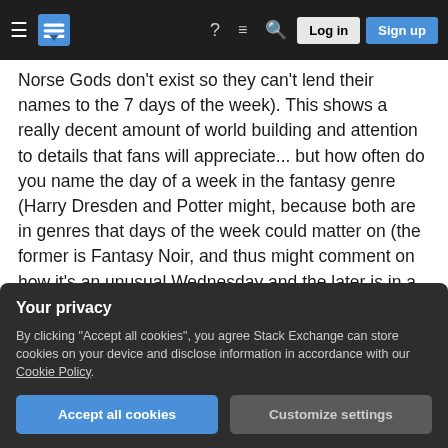Navigation bar with hamburger menu, Stack Exchange logo, help icon, chat icon, search icon, Log in button, Sign up button
Norse Gods don't exist so they can't lend their names to the 7 days of the week). This shows a really decent amount of world building and attention to details that fans will appreciate... but how often do you name the day of a week in the fantasy genre (Harry Dresden and Potter might, because both are in genres that days of the week could matter on (the former is Fantasy Noir, and thus might comment on how it's an unusual Wednesday and the later is in a Fantasy Boarding School genre and will be in certain classes on certain days or off on the Weekend)?
joke is referring to the famous Geico Commercial
Your privacy
By clicking "Accept all cookies", you agree Stack Exchange can store cookies on your device and disclose information in accordance with our Cookie Policy.
Accept all cookies   Customize settings